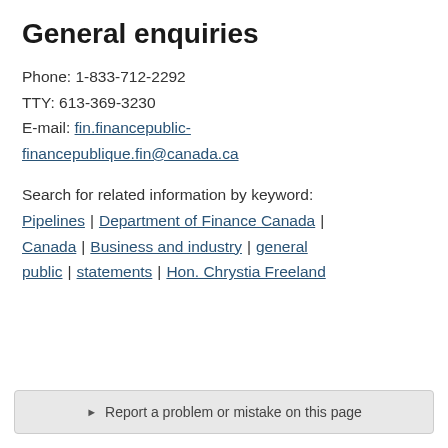General enquiries
Phone: 1-833-712-2292
TTY: 613-369-3230
E-mail: fin.financepublic-financepublique.fin@canada.ca
Search for related information by keyword: Pipelines | Department of Finance Canada | Canada | Business and industry | general public | statements | Hon. Chrystia Freeland
Report a problem or mistake on this page